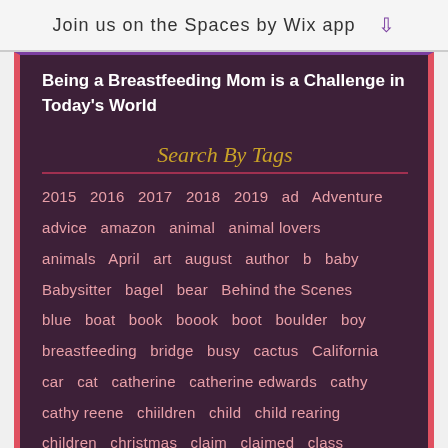Join us on the Spaces by Wix app
Being a Breastfeeding Mom is a Challenge in Today's World
Search By Tags
2015  2016  2017  2018  2019  ad  Adventure  advice  amazon  animal  animal lovers  animals  April  art  august  author  b  baby  Babysitter  bagel  bear  Behind the Scenes  blue  boat  book  boook  boot  boulder  boy  breastfeeding  bridge  busy  cactus  California  car  cat  catherine  catherine edwards  cathy  cathy reene  chiildren  child  child rearing  children  christmas  claim  claimed  class